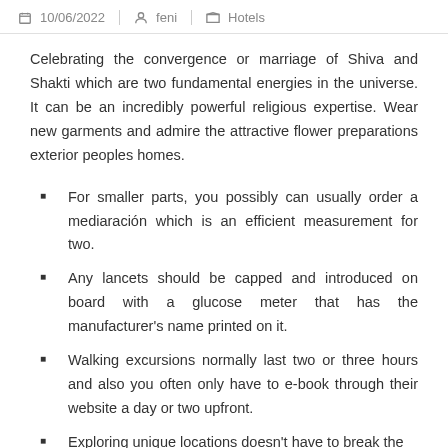10/06/2022 | feni | Hotels
Celebrating the convergence or marriage of Shiva and Shakti which are two fundamental energies in the universe. It can be an incredibly powerful religious expertise. Wear new garments and admire the attractive flower preparations exterior peoples homes.
For smaller parts, you possibly can usually order a mediaración which is an efficient measurement for two.
Any lancets should be capped and introduced on board with a glucose meter that has the manufacturer's name printed on it.
Walking excursions normally last two or three hours and also you often only have to e-book through their website a day or two upfront.
Exploring unique locations doesn't have to break the